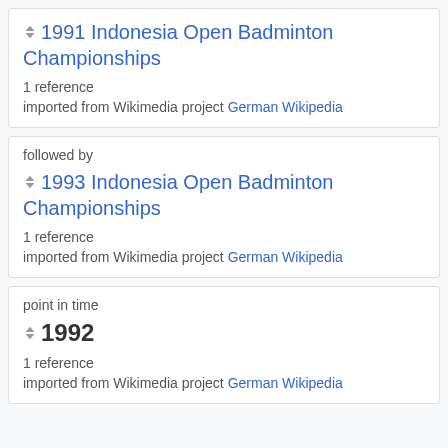1991 Indonesia Open Badminton Championships
1 reference
imported from Wikimedia project German Wikipedia
followed by
1993 Indonesia Open Badminton Championships
1 reference
imported from Wikimedia project German Wikipedia
point in time
1992
1 reference
imported from Wikimedia project German Wikipedia